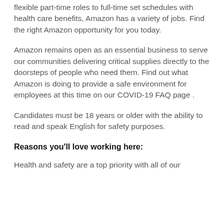flexible part-time roles to full-time set schedules with health care benefits, Amazon has a variety of jobs. Find the right Amazon opportunity for you today.
Amazon remains open as an essential business to serve our communities delivering critical supplies directly to the doorsteps of people who need them. Find out what Amazon is doing to provide a safe environment for employees at this time on our COVID-19 FAQ page .
Candidates must be 18 years or older with the ability to read and speak English for safety purposes.
Reasons you'll love working here:
Health and safety are a top priority with all of our